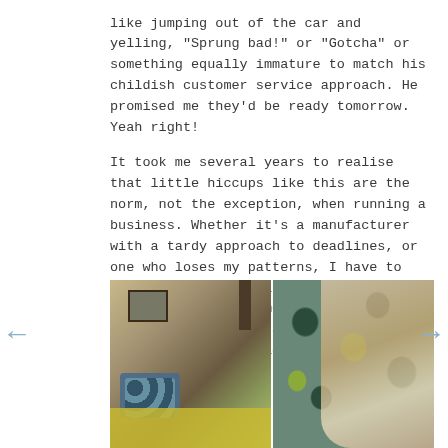like jumping out of the car and yelling, "Sprung bad!" or "Gotcha" or something equally immature to match his childish customer service approach. He promised me they'd be ready tomorrow. Yeah right!
It took me several years to realise that little hiccups like this are the norm, not the exception, when running a business. Whether it's a manufacturer with a tardy approach to deadlines, or one who loses my patterns, I have to learn to deal with it. At least I amply warned all my customers who had this item on pre-order that it could take a lot longer than anticipated.
[Figure (photo): Two side-by-side photos: left shows a bed with blue floral patterned pillows and yellow bedding in a bedroom; right shows a woman with curly blonde hair holding or wearing blue and green floral fabric.]